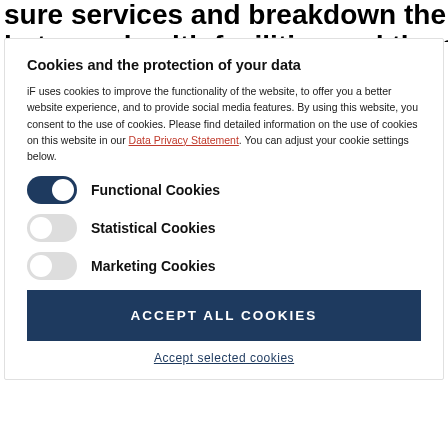sure services and breakdown the barrier between health facilities and the community.
Cookies and the protection of your data
iF uses cookies to improve the functionality of the website, to offer you a better website experience, and to provide social media features. By using this website, you consent to the use of cookies. Please find detailed information on the use of cookies on this website in our Data Privacy Statement. You can adjust your cookie settings below.
Functional Cookies (toggle on)
Statistical Cookies (toggle off)
Marketing Cookies (toggle off)
ACCEPT ALL COOKIES
Accept selected cookies